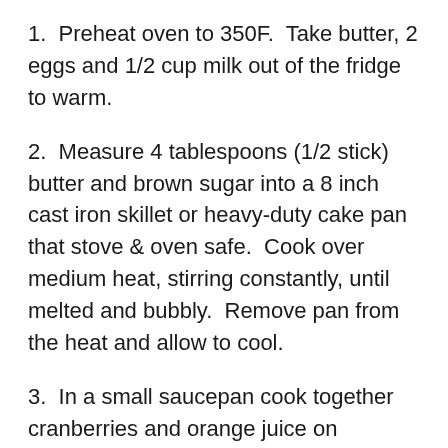1.  Preheat oven to 350F.  Take butter, 2 eggs and 1/2 cup milk out of the fridge to warm.
2.  Measure 4 tablespoons (1/2 stick) butter and brown sugar into a 8 inch cast iron skillet or heavy-duty cake pan that stove & oven safe.  Cook over medium heat, stirring constantly, until melted and bubbly.  Remove pan from the heat and allow to cool.
3.  In a small saucepan cook together cranberries and orange juice on medium heat until the cranberries begin to pop.  Remove from heat and pour evenly over the cooled caramel.
4.  Separate the egg yolks from the whites.  Set